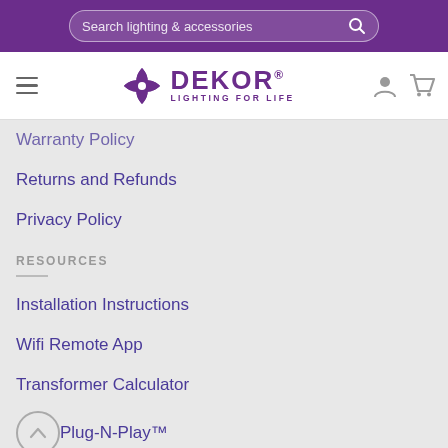Search lighting & accessories
[Figure (logo): DEKOR Lighting For Life logo with purple pinwheel icon]
Warranty Policy
Returns and Refunds
Privacy Policy
RESOURCES
Installation Instructions
Wifi Remote App
Transformer Calculator
Plug-N-Play™